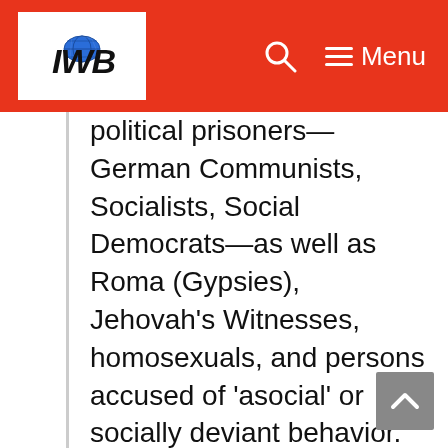IWB [logo with globe icon] | Search icon | Menu
political prisoners—German Communists, Socialists, Social Democrats—as well as Roma (Gypsies), Jehovah's Witnesses, homosexuals, and persons accused of 'asocial' or socially deviant behavior. Many of these sites were called concentration camps. The term concentration camp refers to a camp in which people are